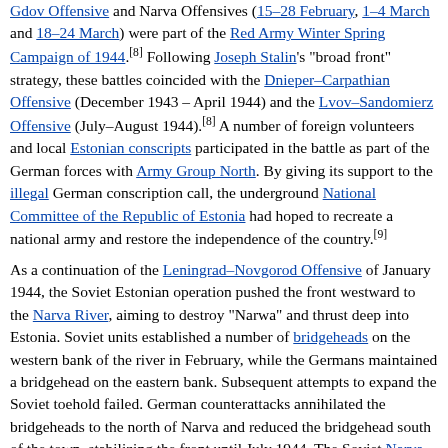Gdov Offensive and Narva Offensives (15–28 February, 1–4 March and 18–24 March) were part of the Red Army Winter Spring Campaign of 1944.[8] Following Joseph Stalin's "broad front" strategy, these battles coincided with the Dnieper–Carpathian Offensive (December 1943 – April 1944) and the Lvov–Sandomierz Offensive (July–August 1944).[8] A number of foreign volunteers and local Estonian conscripts participated in the battle as part of the German forces with Army Group North. By giving its support to the illegal German conscription call, the underground National Committee of the Republic of Estonia had hoped to recreate a national army and restore the independence of the country.[9]
As a continuation of the Leningrad–Novgorod Offensive of January 1944, the Soviet Estonian operation pushed the front westward to the Narva River, aiming to destroy "Narwa" and thrust deep into Estonia. Soviet units established a number of bridgeheads on the western bank of the river in February, while the Germans maintained a bridgehead on the eastern bank. Subsequent attempts to expand the Soviet toehold failed. German counterattacks annihilated the bridgeheads to the north of Narva and reduced the bridgehead south of the town, stabilizing the front until July 1944. The Soviet Narva Offensive (July 1944) led to the capture of the city after the German troops retreated to their